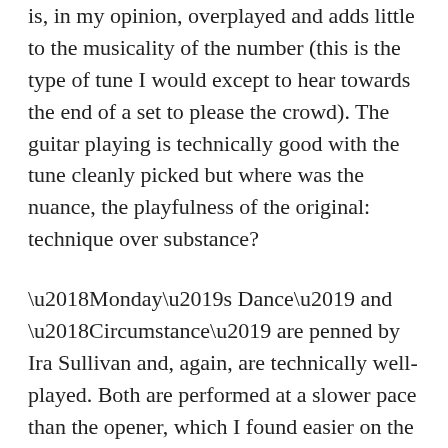is, in my opinion, overplayed and adds little to the musicality of the number (this is the type of tune I would except to hear towards the end of a set to please the crowd). The guitar playing is technically good with the tune cleanly picked but where was the nuance, the playfulness of the original: technique over substance?
‘Monday’s Dance’ and ‘Circumstance’ are penned by Ira Sullivan and, again, are technically well-played. Both are performed at a slower pace than the opener, which I found easier on the ear. It is on ‘Circumstance’ that we finally get to hear the sax of Yanier Horta, albeit briefly, which is nice enough